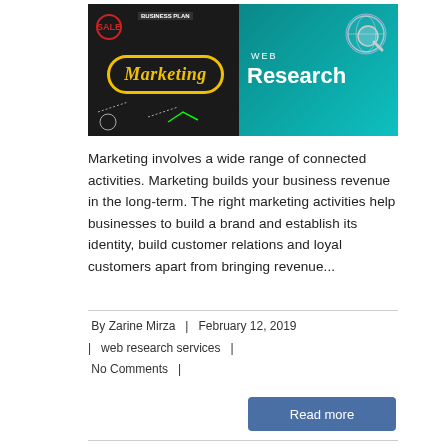[Figure (photo): Marketing and Web Research banner image. Left half shows chalkboard with 'Marketing' in yellow stylized text, 'SALE' label, 'Business Plan' text. Right half shows teal background with 'WEB Research' text and globe/magnifying glass graphic.]
Marketing involves a wide range of connected activities. Marketing builds your business revenue in the long-term. The right marketing activities help businesses to build a brand and establish its identity, build customer relations and loyal customers apart from bringing revenue...
By Zarine Mirza  |  February 12, 2019  |  web research services  |  No Comments  |
Read more